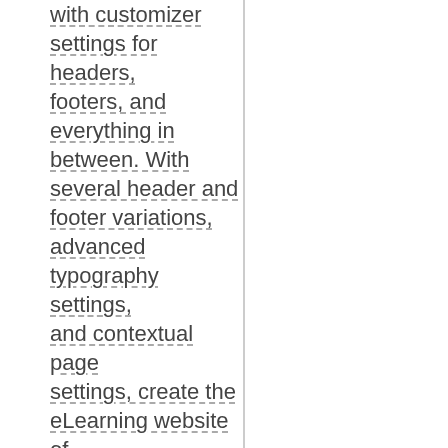with customizer settings for headers, footers, and everything in between. With several header and footer variations, advanced typography settings, and contextual page settings, create the eLearning website of your dreams with this free LMS theme. Tutor Starter features 3 modern and pre-built home layouts with fully functioning inner